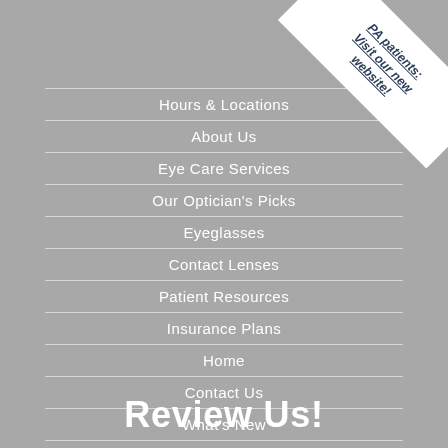Hours & Locations
About Us
Eye Care Services
Our Optician's Picks
Eyeglasses
Contact Lenses
Patient Resources
Insurance Plans
Home
Contact Us
What's New
Disclaimer
Privacy Policy
PA patients: Visit our new website!
Review Us!